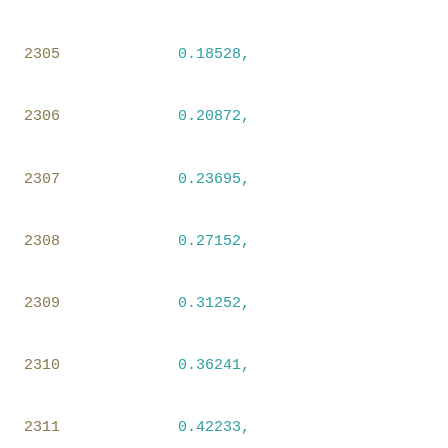2305    0.18528,
2306    0.20872,
2307    0.23695,
2308    0.27152,
2309    0.31252,
2310    0.36241,
2311    0.42233,
2312    0.49296,
2313    0.58033,
2314    0.68317,
2315    0.80692
2316    ],
2317    [
2318    0.09045,
2319    0.10513,
2320    0.10831,
2321    0.11211,
2322    0.11688,
2323    0.12255,
2324    0.1295,
2325    0.13811,
2326    0.14???